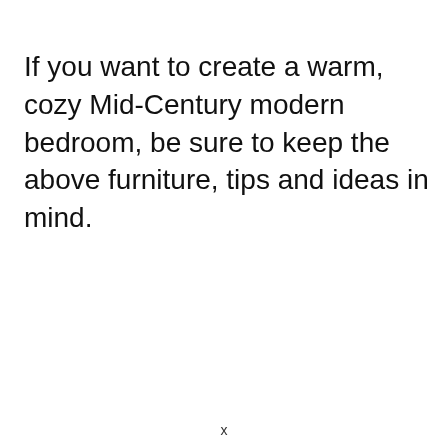If you want to create a warm, cozy Mid-Century modern bedroom, be sure to keep the above furniture, tips and ideas in mind.
x